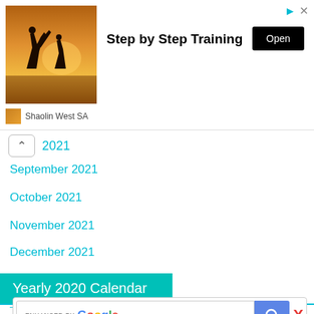[Figure (screenshot): Advertisement banner: martial arts silhouette photo, 'Step by Step Training' text, Open button, Shaolin West SA source label, corner ad icons]
2021
September 2021
October 2021
November 2021
December 2021
Yearly 2020 Calendar
[Figure (screenshot): Enhanced by Google search bar with blue search button and red X close button]